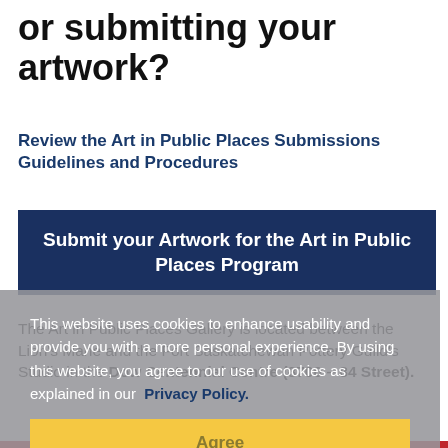or submitting your artwork?
Review the Art in Public Places Submissions Guidelines and Procedures
Submit your Artwork for the Art in Public Places Program
The Art in Public Places Gallery is located between the Lion's Mane and the Fort Saskatchewan Pottery Guild's Studio in the Dow Centennial Centre (8700 – 84 Street).
This website uses cookies to enhance usability and provide you with a more personal experience. By using this website, you agree to our use of cookies as explained in our Privacy Policy.
Agree